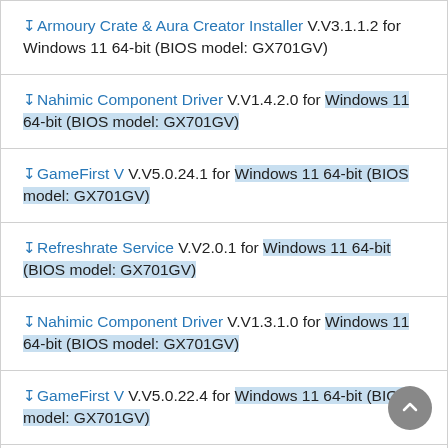↓Armoury Crate & Aura Creator Installer V.V3.1.1.2 for Windows 11 64-bit (BIOS model: GX701GV)
↓Nahimic Component Driver V.V1.4.2.0 for Windows 11 64-bit (BIOS model: GX701GV)
↓GameFirst V V.V5.0.24.1 for Windows 11 64-bit (BIOS model: GX701GV)
↓Refreshrate Service V.V2.0.1 for Windows 11 64-bit (BIOS model: GX701GV)
↓Nahimic Component Driver V.V1.3.1.0 for Windows 11 64-bit (BIOS model: GX701GV)
↓GameFirst V V.V5.0.22.4 for Windows 11 64-bit (BIOS model: GX701GV)
↓Asus Multi Antenna Service V2.0.3 V.2.0.3 for Windows 11 64-bit (BIOS model: GX701GV)